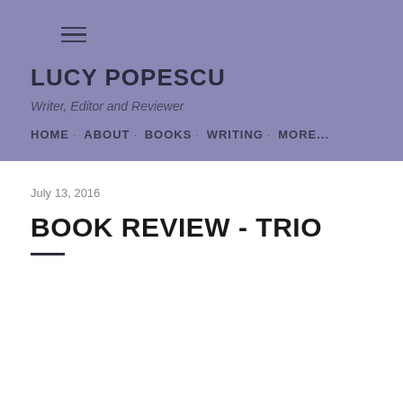≡
LUCY POPESCU
Writer, Editor and Reviewer
HOME · ABOUT · BOOKS · WRITING · MORE...
July 13, 2016
BOOK REVIEW - TRIO